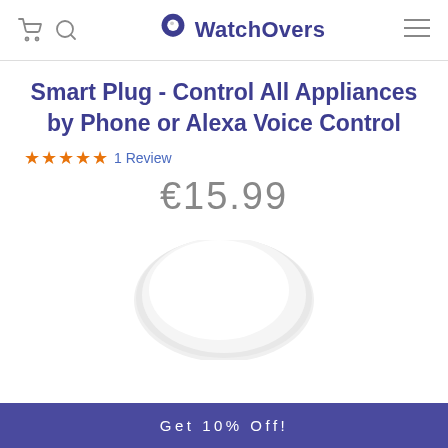WatchOvers
Smart Plug - Control All Appliances by Phone or Alexa Voice Control
★★★★★ 1 Review
€15.99
[Figure (photo): White smart plug device, partially visible at the bottom of the product image area]
Get 10% Off!